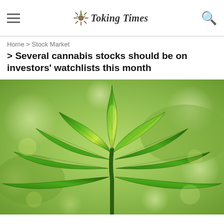Toking Times
Home > Stock Market
Several cannabis stocks should be on investors' watchlists this month
[Figure (photo): Close-up photo of a green cannabis leaf with blurred green background]